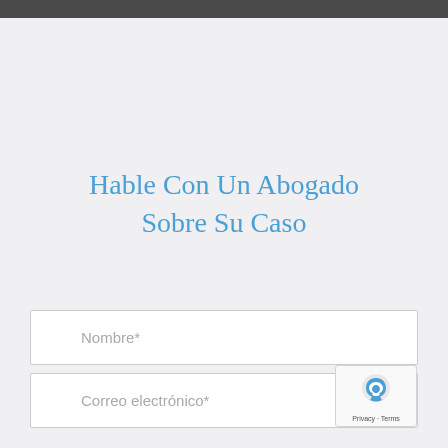Hable Con Un Abogado Sobre Su Caso
Nombre*
Correo electrónico*